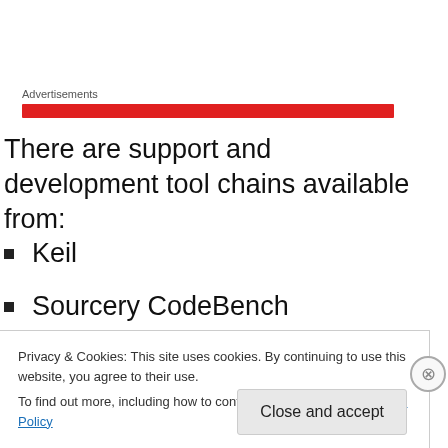Advertisements
There are support and development tool chains available from:
Keil
Sourcery CodeBench
IAR Tools
CodeComposer Studio
Privacy & Cookies: This site uses cookies. By continuing to use this website, you agree to their use.
To find out more, including how to control cookies, see here: Cookie Policy